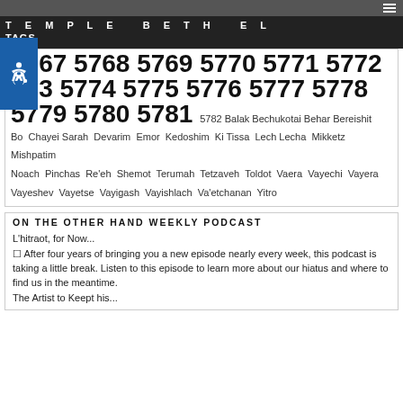TEMPLE BETH EL
TAGS
5767 5768 5769 5770 5771 5772 5773 5774 5775 5776 5777 5778 5779 5780 5781 5782 Balak Bechukotai Behar Bereishit Bo Chayei Sarah Devarim Emor Kedoshim Ki Tissa Lech Lecha Mikketz Mishpatim Noach Pinchas Re'eh Shemot Terumah Tetzaveh Toldot Vaera Vayechi Vayera Vayeshev Vayetse Vayigash Vayishlach Va'etchanan Yitro
ON THE OTHER HAND WEEKLY PODCAST
L'hitraot, for Now...
[] After four years of bringing you a new episode nearly every week, this podcast is taking a little break. Listen to this episode to learn more about our hiatus and where to find us in the meantime.
The Artist to Keep his...